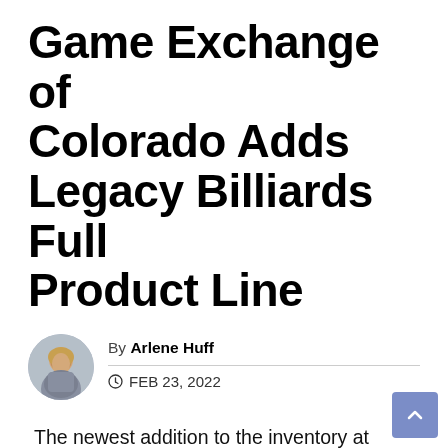Game Exchange of Colorado Adds Legacy Billiards Full Product Line
By Arlene Huff
FEB 23, 2022
The newest addition to the inventory at Game Exchange of Colorado is the full line of products, including the premium pool tables from Legacy Billiards. This new company offers quality craftsmanship and innovative designs